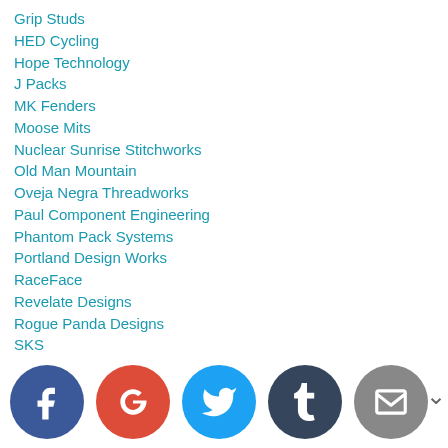Grip Studs
HED Cycling
Hope Technology
J Packs
MK Fenders
Moose Mits
Nuclear Sunrise Stitchworks
Old Man Mountain
Oveja Negra Threadworks
Paul Component Engineering
Phantom Pack Systems
Portland Design Works
RaceFace
Revelate Designs
Rogue Panda Designs
SKS
SnowGroomers.net
White Industries
Wo[rld Bicycle Component...]